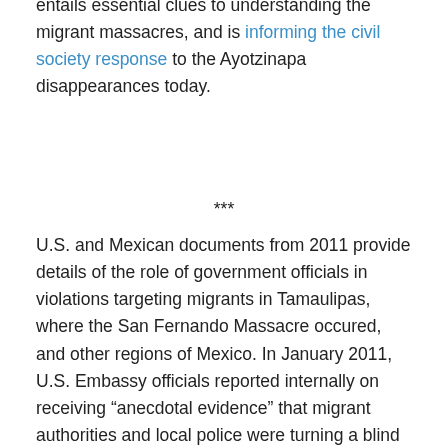entails essential clues to understanding the migrant massacres, and is informing the civil society response to the Ayotzinapa disappearances today.
***
U.S. and Mexican documents from 2011 provide details of the role of government officials in violations targeting migrants in Tamaulipas, where the San Fernando Massacre occured, and other regions of Mexico. In January 2011, U.S. Embassy officials reported internally on receiving “anecdotal evidence” that migrant authorities and local police were turning a blind eye or colluding in routine forms of extortion, kidnapping, and trafficking of migrants, emphasizing the role of the state in the violence.
In April and June of 2011, hundreds of more bodies were discovered in mass graves in the same region. During that